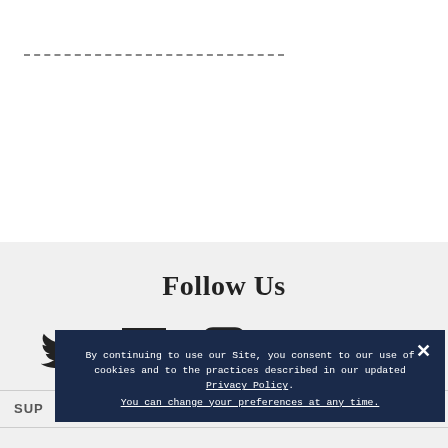- - - - - - - - - - - - - - - - - - - - - - - - - - - - - - - - - - - - - - - - - -
Follow Us
[Figure (illustration): Social media icons: Twitter bird, Facebook F, Instagram camera, YouTube logo, Weibo logo]
SUP
By continuing to use our Site, you consent to our use of cookies and to the practices described in our updated Privacy Policy. You can change your preferences at any time.